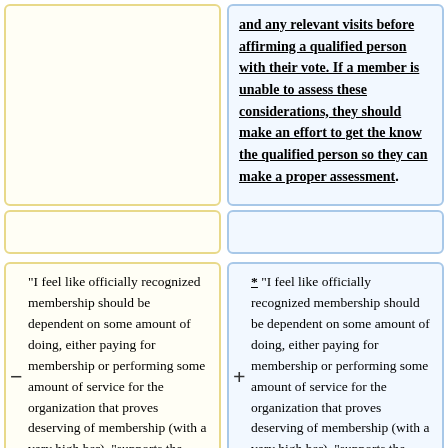and any relevant visits before affirming a qualified person with their vote. If a member is unable to assess these considerations, they should make an effort to get the know the qualified person so they can make a proper assessment.
"I feel like officially recognized membership should be dependent on some amount of doing, either paying for membership or performing some amount of service for the organization that proves deserving of membership (with a very high bar). "supports the purposes" kind of sounds like a
* "I feel like officially recognized membership should be dependent on some amount of doing, either paying for membership or performing some amount of service for the organization that proves deserving of membership (with a very high bar). "supports the purposes" kind of sounds like a